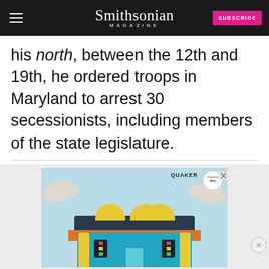Smithsonian MAGAZINE
his north, between the 12th and 17th, he ordered troops in Maryland to arrest 30 secessionists, including members of the state legislature.
[Figure (illustration): Quaker Museum Day advertisement showing a colorful illustrated building resembling a museum with pencil decorations, school supplies motif, clouds in background. Top ad banner with museum building illustration and text: YOU COULD WIN A MUSEUM FIELD TRIP TO D.C. LEARN MORE.]